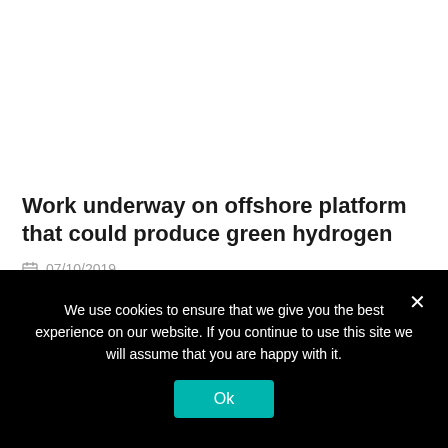Work underway on offshore platform that could produce green hydrogen
07/10/2019
We use cookies to ensure that we give you the best experience on our website. If you continue to use this site we will assume that you are happy with it.